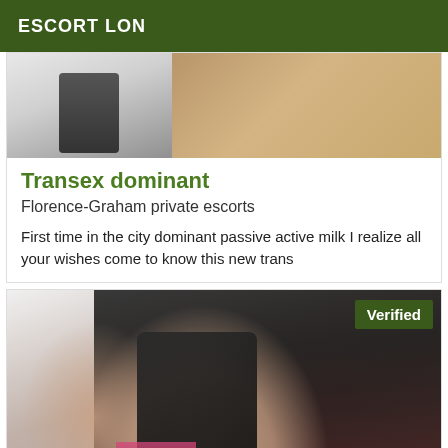ESCORT LON
[Figure (photo): Top portion of a listing card showing a partial image with beige stone/granite texture background and a dark device on the left side]
Transex dominant
Florence-Graham private escorts
First time in the city dominant passive active milk I realize all your wishes come to know this new trans
[Figure (photo): Photo of a person with long dark hair holding a Motorola phone in front of their face, wearing a pink top, with a Verified badge in the top-right corner]